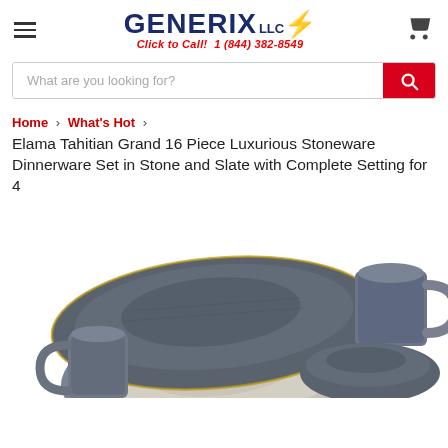GENERIX LLC | Click to Call! 1 (844) 382-8549
What are you looking for?
Home > What's Hot > Elama Tahitian Grand 16 Piece Luxurious Stoneware Dinnerware Set in Stone and Slate with Complete Setting for 4
[Figure (photo): Photo of a stoneware dinnerware set in slate/stone grey color, showing plates, bowls, and mugs stacked together, viewed from above/side angle.]